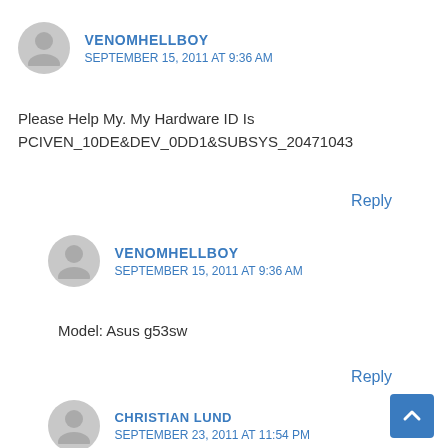VENOMHELLBOY
SEPTEMBER 15, 2011 AT 9:36 AM
Please Help My. My Hardware ID Is
PCIVEN_10DE&DEV_0DD1&SUBSYS_20471043
Reply
VENOMHELLBOY
SEPTEMBER 15, 2011 AT 9:36 AM
Model: Asus g53sw
Reply
CHRISTIAN LUND
SEPTEMBER 23, 2011 AT 11:54 PM
I have the same model, tried to do as this guide says, but it